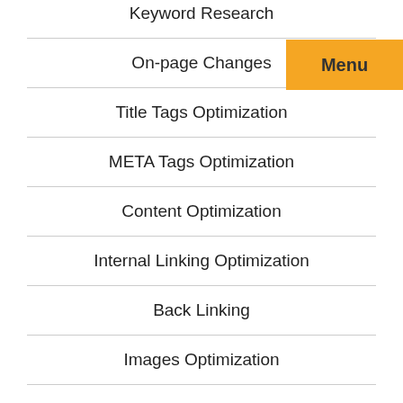Keyword Research
On-page Changes
Title Tags Optimization
META Tags Optimization
Content Optimization
Internal Linking Optimization
Back Linking
Images Optimization
Robots.txt Creation
Sitemap Creation